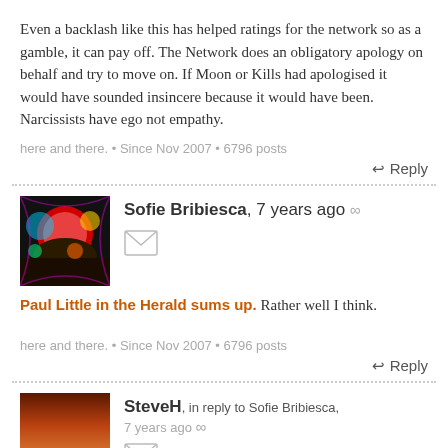Even a backlash like this has helped ratings for the network so as a gamble, it can pay off. The Network does an obligatory apology on behalf and try to move on. If Moon or Kills had apologised it would have sounded insincere because it would have been. Narcissists have ego not empathy.
here and there. • Since Nov 2007 • 6796 posts
↩ Reply
Sofie Bribiesca, 7 years ago ∞
Paul Little in the Herald sums up. Rather well I think.
here and there. • Since Nov 2007 • 6796 posts
↩ Reply
SteveH, in reply to Sofie Bribiesca, 7 years ago ∞
Right. I wasn't really expecting them to apologise.